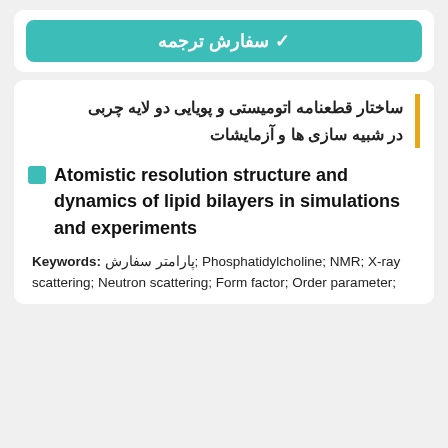سفارش ترجمه
ساختار قطعنامه اتومیستی و پویایی دو لایه چربی در شبیه سازی ها و آزمایشات
Atomistic resolution structure and dynamics of lipid bilayers in simulations and experiments
Keywords: پارامتر سفارش; Phosphatidylcholine; NMR; X-ray scattering; Neutron scattering; Form factor; Order parameter;